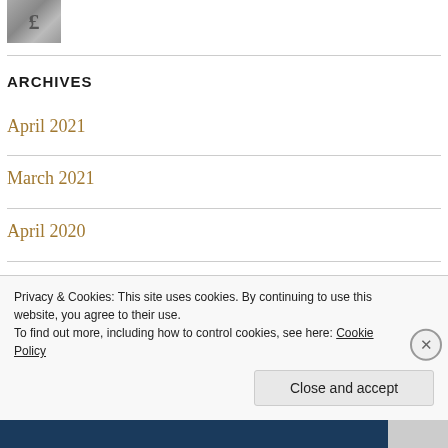[Figure (photo): Small thumbnail image showing a stone or textured surface with a letter or symbol]
ARCHIVES
April 2021
March 2021
April 2020
Privacy & Cookies: This site uses cookies. By continuing to use this website, you agree to their use.
To find out more, including how to control cookies, see here: Cookie Policy
Close and accept